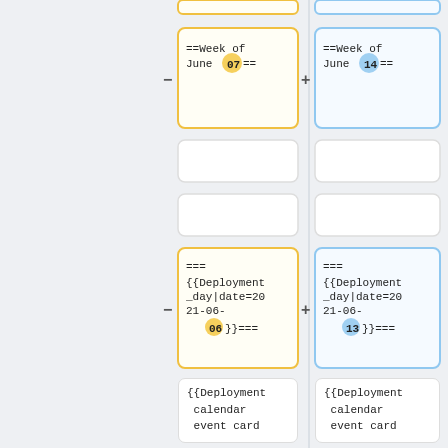[Figure (screenshot): Diff comparison view showing two columns of wiki markup cards. Left column (yellow, deletion) and right column (blue, addition). Rows show: Week of June 07 vs 14, empty cards, deployment day date 2021-06-06 vs 2021-06-13, deployment calendar event card, and |when=2021-06-06 00:00 SF vs |when=2021-06-13 00:00 SF.]